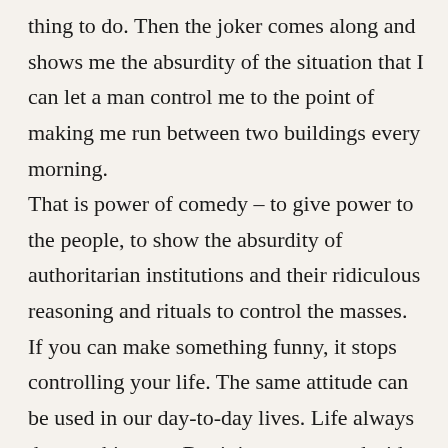thing to do. Then the joker comes along and shows me the absurdity of the situation that I can let a man control me to the point of making me run between two buildings every morning. That is power of comedy – to give power to the people, to show the absurdity of authoritarian institutions and their ridiculous reasoning and rituals to control the masses. If you can make something funny, it stops controlling your life. The same attitude can be used in our day-to-day lives. Life always throws shit at us. But it is up to us to decide whether to dwell in the gloom, or to find the ridiculousness of the situation and have a good laugh about it. In the end, it is the joker and the